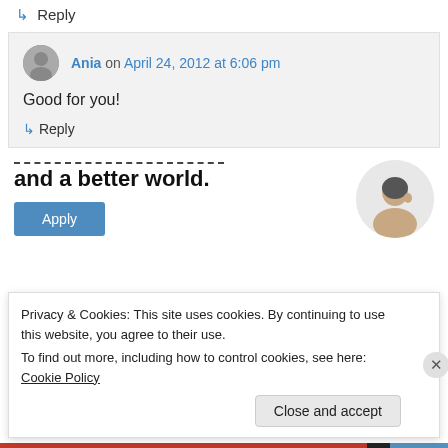↳ Reply
Ania on April 24, 2012 at 6:06 pm
Good for you!
↳ Reply
[Figure (illustration): Advertisement banner with text 'and a better world.' and an Apply button, with a photo of a person thinking]
Privacy & Cookies: This site uses cookies. By continuing to use this website, you agree to their use.
To find out more, including how to control cookies, see here: Cookie Policy
Close and accept